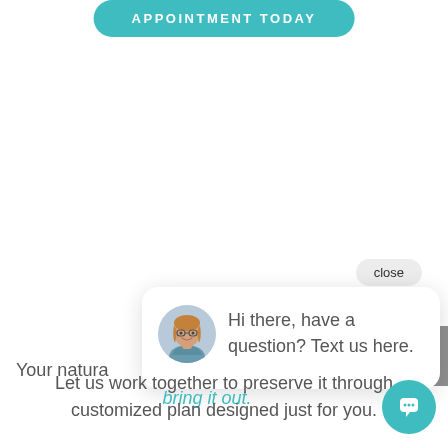APPOINTMENT TODAY
close
[Figure (screenshot): Chat popup with a woman's avatar photo and text: Hi there, have a question? Text us here.]
Your natura
bring it out.
Let us work together to preserve it through customized plan designed just for you.